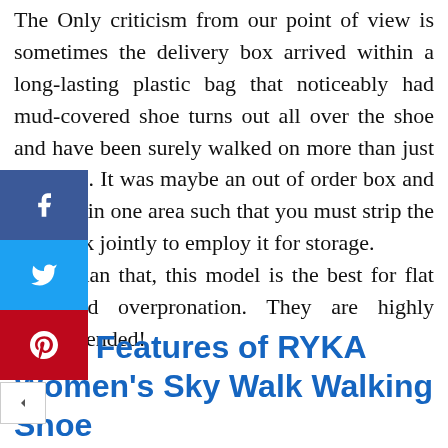The Only criticism from our point of view is sometimes the delivery box arrived within a long-lasting plastic bag that noticeably had mud-covered shoe turns out all over the shoe and have been surely walked on more than just the once. It was maybe an out of order box and tore out in one area such that you must strip the box back jointly to employ it for storage. Other than that, this model is the best for flat feet and overpronation. They are highly recommended!
Main Features of RYKA Women's Sky Walk Walking Shoe